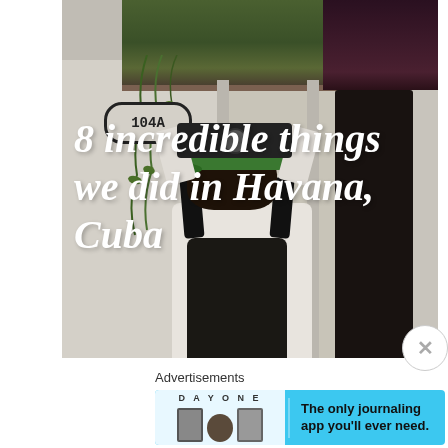[Figure (photo): A person with a backpack and green cap photographing a colonial building in Havana, Cuba. The building facade is cream/white with a 104A address plaque and plant boxes with trailing vines. Text overlay reads '8 incredible things we did in Havana, Cuba' in white italic script font.]
8 incredible things we did in Havana, Cuba
Advertisements
[Figure (screenshot): Advertisement banner for DAY ONE journaling app. Light blue background with 'DAY ONE' logo on left and icons showing a journal, person, and list. Right side text: 'The only journaling app you'll ever need.']